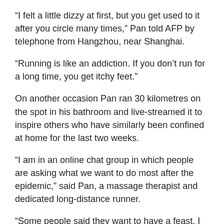“I felt a little dizzy at first, but you get used to it after you circle many times,” Pan told AFP by telephone from Hangzhou, near Shanghai.
“Running is like an addiction. If you don’t run for a long time, you get itchy feet.”
On another occasion Pan ran 30 kilometres on the spot in his bathroom and live-streamed it to inspire others who have similarly been confined at home for the last two weeks.
“I am in an online chat group in which people are asking what we want to do most after the epidemic,” said Pan, a massage therapist and dedicated long-distance runner.
“Some people said they want to have a feast. I said that I want to run 100 kilometres outside.”